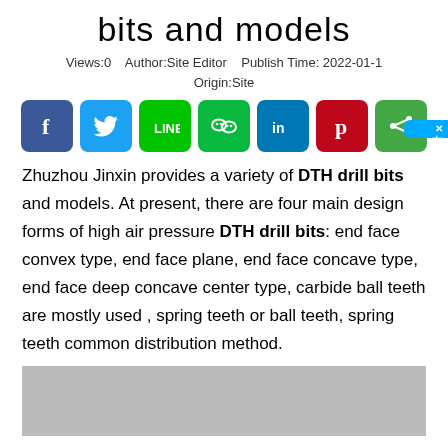bits and models
Views:0    Author:Site Editor    Publish Time: 2022-01-
Origin:Site
[Figure (infographic): Social media share buttons: Facebook, Twitter, LINE, WeChat, LinkedIn, Pinterest, Share]
Zhuzhou Jinxin provides a variety of DTH drill bits and models. At present, there are four main design forms of high air pressure DTH drill bits: end face convex type, end face plane, end face concave type, end face deep concave center type, carbide ball teeth are mostly used , spring teeth or ball teeth, spring teeth common distribution method.
[Figure (photo): Gray placeholder image area]